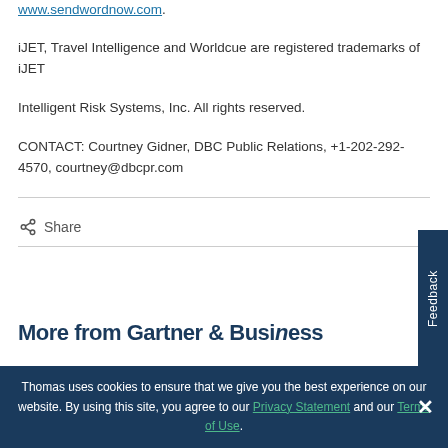Send Word Now (TM) emergency notification can be found at www.sendwordnow.com.
iJET, Travel Intelligence and Worldcue are registered trademarks of iJET
Intelligent Risk Systems, Inc. All rights reserved.
CONTACT: Courtney Gidner, DBC Public Relations, +1-202-292-4570, courtney@dbcpr.com
Share
More from Gartner & Business...
Thomas uses cookies to ensure that we give you the best experience on our website. By using this site, you agree to our Privacy Statement and our Terms of Use.